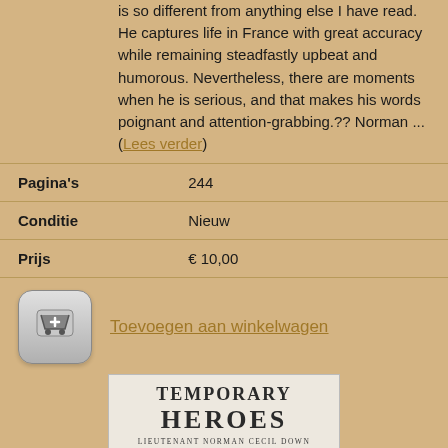is so different from anything else I have read. He captures life in France with great accuracy while remaining steadfastly upbeat and humorous. Nevertheless, there are moments when he is serious, and that makes his words poignant and attention-grabbing.?? Norman ... (Lees verder)
| Pagina's | 244 |
| Conditie | Nieuw |
| Prijs | € 10,00 |
Toevoegen aan winkelwagen
[Figure (photo): Book cover showing 'TEMPORARY HEROES' by Lieutenant Norman Cecil Down]